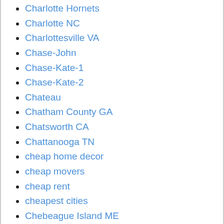Charlotte Hornets
Charlotte NC
Charlottesville VA
Chase-John
Chase-Kate-1
Chase-Kate-2
Chateau
Chatham County GA
Chatsworth CA
Chattanooga TN
cheap home decor
cheap movers
cheap rent
cheapest cities
Chebeague Island ME
Cheboygan MI
checklist
chef
chef kitchen